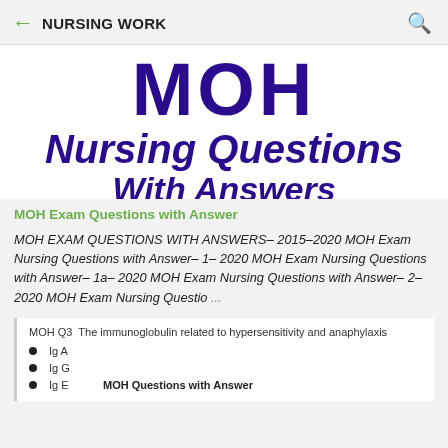NURSING WORK
[Figure (illustration): MOH Nursing Questions With Answers book cover banner — large bold blue-purple text on white background showing 'MOH', 'Nursing Questions', and partially visible 'With Answers']
MOH Exam Questions with Answer
MOH EXAM QUESTIONS WITH ANSWERS– 2015–2020 MOH Exam Nursing Questions with Answer– 1– 2020 MOH Exam Nursing Questions with Answer– 1a– 2020 MOH Exam Nursing Questions with Answer– 2– 2020 MOH Exam Nursing Questio ...
MOH Q3 The immunoglobulin related to hypersensitivity and anaphylaxis
Ig A
Ig G
Ig E    MOH Questions with Answer